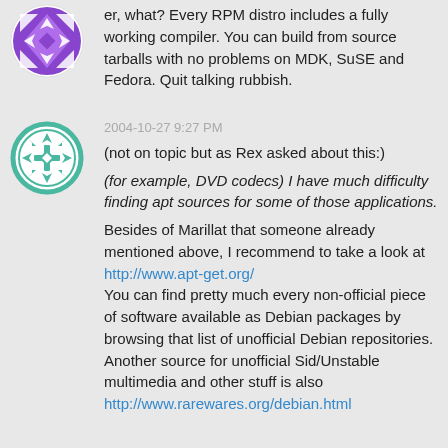[Figure (logo): Purple geometric quilt-pattern avatar icon]
er, what? Every RPM distro includes a fully working compiler. You can build from source tarballs with no problems on MDK, SuSE and Fedora. Quit talking rubbish.
[Figure (logo): Teal/green geometric quilt-pattern avatar icon with star motif]
2004-10-27 9:27 PM
(not on topic but as Rex asked about this:)
(for example, DVD codecs) I have much difficulty finding apt sources for some of those applications.
Besides of Marillat that someone already mentioned above, I recommend to take a look at http://www.apt-get.org/
You can find pretty much every non-official piece of software available as Debian packages by browsing that list of unofficial Debian repositories.
Another source for unofficial Sid/Unstable multimedia and other stuff is also http://www.rarewares.org/debian.html